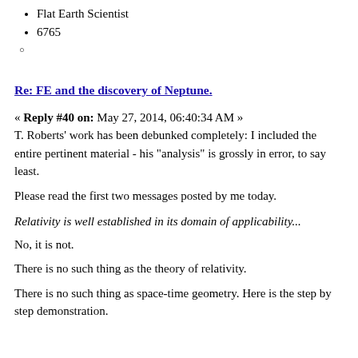Flat Earth Scientist
6765
○
Re: FE and the discovery of Neptune.
« Reply #40 on: May 27, 2014, 06:40:34 AM »
T. Roberts' work has been debunked completely: I included the entire pertinent material - his "analysis" is grossly in error, to say least.
Please read the first two messages posted by me today.
Relativity is well established in its domain of applicability...
No, it is not.
There is no such thing as the theory of relativity.
There is no such thing as space-time geometry. Here is the step by step demonstration.